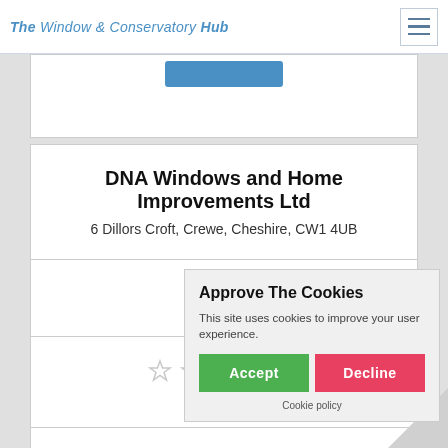The Window & Conservatory Hub
DNA Windows and Home Improvements Ltd
6 Dillors Croft, Crewe, Cheshire, CW1 4UB
19.66
[Figure (other): Star rating display showing approximately 2.5 stars out of 5, with outline stars]
Approve The Cookies
This site uses cookies to improve your user experience.
Accept | Decline
Cookie policy